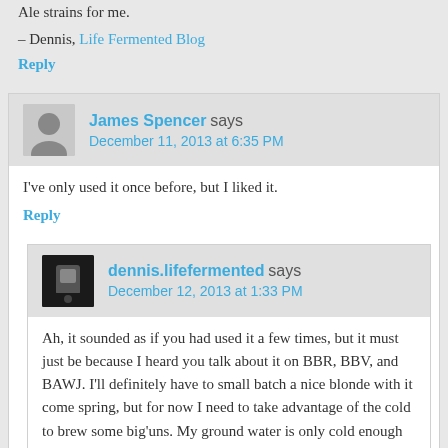Ale strains for me.
– Dennis, Life Fermented Blog
Reply
James Spencer says December 11, 2013 at 6:35 PM
I've only used it once before, but I liked it.
Reply
dennis.lifefermented says December 12, 2013 at 1:33 PM
Ah, it sounded as if you had used it a few times, but it must just be because I heard you talk about it on BBR, BBV, and BAWJ. I'll definitely have to small batch a nice blonde with it come spring, but for now I need to take advantage of the cold to brew some big'uns. My ground water is only cold enough to chill effectively in the winter, and I keep my house 65 colder because I'm cheap